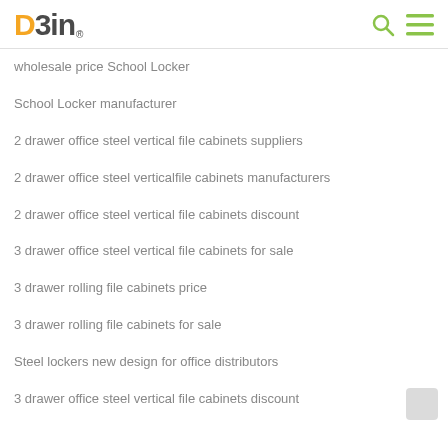DBin® [search icon] [menu icon]
wholesale price School Locker
School Locker manufacturer
2 drawer office steel vertical file cabinets suppliers
2 drawer office steel verticalfile cabinets manufacturers
2 drawer office steel vertical file cabinets discount
3 drawer office steel vertical file cabinets for sale
3 drawer rolling file cabinets price
3 drawer rolling file cabinets for sale
Steel lockers new design for office distributors
3 drawer office steel vertical file cabinets discount